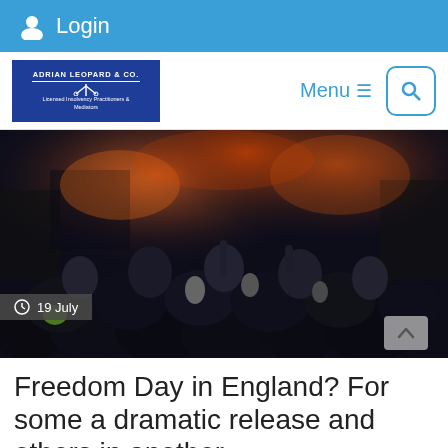Login
[Figure (logo): Adrian Leopard & Co. logo — Licensed Insolvency Practitioners & Mediators, blue background with white text]
Menu  🔍
[Figure (photo): Large crowd of people at night celebration/event with orange/red lighting in a street]
19 July
Freedom Day in England? For some a dramatic release and others in another…